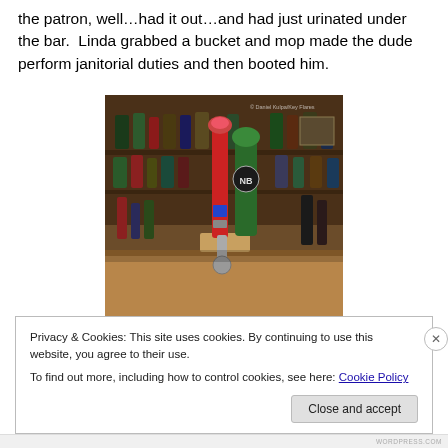the patron, well…had it out…and had just urinated under the bar.  Linda grabbed a bucket and mop made the dude perform janitorial duties and then booted him.
[Figure (photo): Photo of a bar interior showing beer tap handles on a wooden bar top, with shelves of bottles in the background.]
Privacy & Cookies: This site uses cookies. By continuing to use this website, you agree to their use.
To find out more, including how to control cookies, see here: Cookie Policy